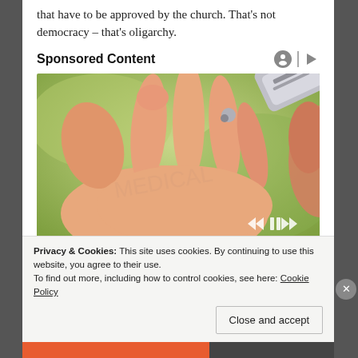that have to be approved by the church. That's not democracy – that's oligarchy.
Sponsored Content
[Figure (photo): Close-up photo of a hand with fingers open, and a silver tube/pen device being pressed to the fingertip. Background is blurred green. Video player controls (rewind, pause, fast-forward) are visible at bottom right of the image.]
Privacy & Cookies: This site uses cookies. By continuing to use this website, you agree to their use.
To find out more, including how to control cookies, see here: Cookie Policy
Close and accept